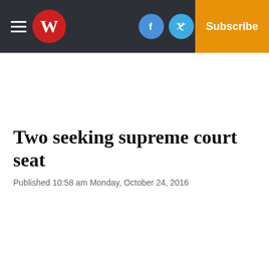W | Facebook | Twitter | Email | Log In | Subscribe
Two seeking supreme court seat
Published 10:58 am Monday, October 24, 2016